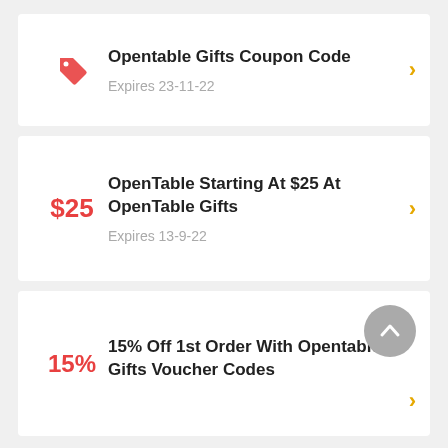Opentable Gifts Coupon Code — Expires 23-11-22
OpenTable Starting At $25 At OpenTable Gifts — Expires 13-9-22
15% Off 1st Order With Opentable Gifts Voucher Codes